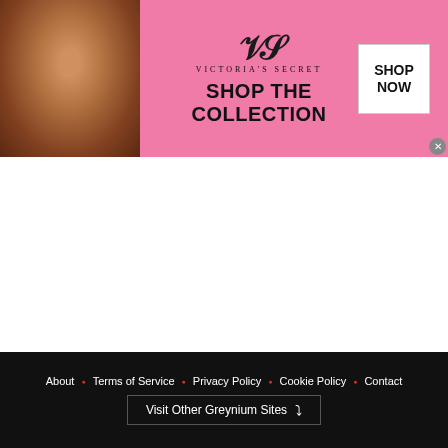[Figure (screenshot): Victoria's Secret advertisement banner with pink background showing 'SHOP THE COLLECTION' text, VS logo, model photo on left, and 'SHOP NOW' button on right]
[Figure (screenshot): White empty content area in the middle of the page]
About • Terms of Service • Privacy Policy • Cookie Policy • Contact
Visit Other Greynium Sites
[Figure (screenshot): Belk.com advertisement: 'Belk.com - Belk® - Official Site' with description 'Shop for clothing, handbags, jewelry, beauty, home & more!' and URL www.belk.com]